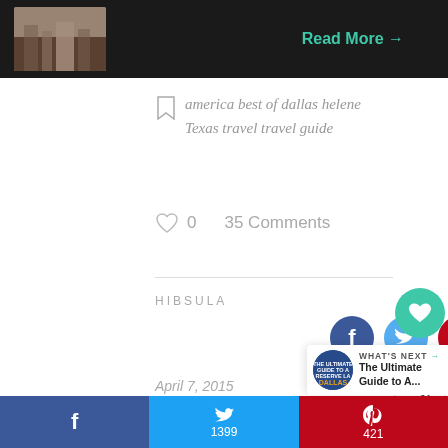[Figure (photo): Dark banner at top with a photo of Dallas cityscape/buildings on left and a teal 'Read More →' button on right]
america best of dallas helene Texas travel travel guide
♡ 0    35 Comments
HIBSULA
[Figure (infographic): Social sharing icons: Facebook (dark blue circle), Twitter (light blue circle), Pinterest (red circle)]
April 7, 2015
[Figure (infographic): Floating right panel with teal heart button showing 1.8K likes and a share button]
[Figure (infographic): What's Next banner with Dallas guide thumbnail]
[Figure (infographic): Bottom share bar: Facebook (no count), Twitter (1399), Pinterest (421)]